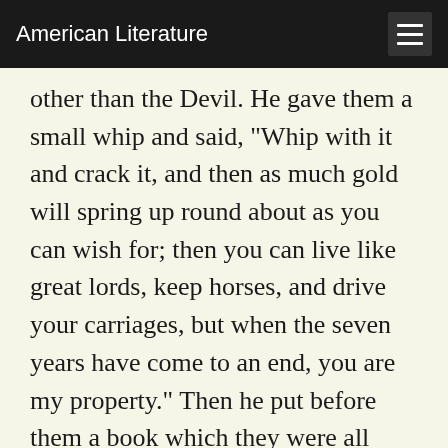American Literature
other than the Devil. He gave them a small whip and said, "Whip with it and crack it, and then as much gold will spring up round about as you can wish for; then you can live like great lords, keep horses, and drive your carriages, but when the seven years have come to an end, you are my property." Then he put before them a book which they were all three forced to sign. "I will, however, then set you a riddle," said he, "and if you can guess that, you shall be free, and released from my power." Then the dragon flew away from them, and they went away with their whip, had gold in plenty, ordered themselves rich apparel, and travelled about the world. Wherever they were they lived in pleasure and magnificence,